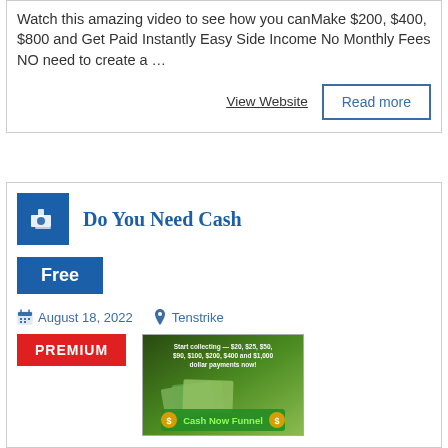Watch this amazing video to see how you canMake $200, $400, $800 and Get Paid Instantly Easy Side Income No Monthly Fees NO need to create a …
View Website
Read more
Do You Need Cash
Free
August 18, 2022
Tenstrike
PREMIUM
[Figure (photo): Promotional image for Cash Now Funnel showing money and text: Start collecting $20, $25, $50, $90, $100, $200, $400 and $1,000 dollar payments now! Cash Now Funnel]